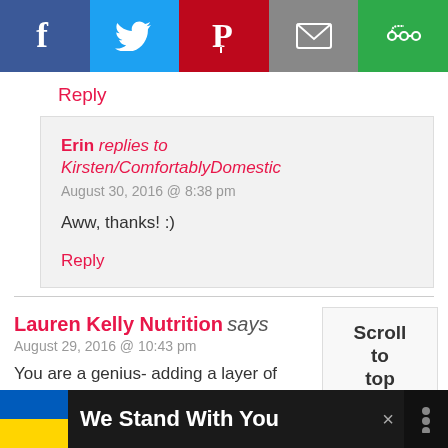[Figure (screenshot): Social share bar with Facebook, Twitter, Pinterest, Email, and another share button icons]
Reply
Erin replies to Kirsten/ComfortablyDomestic
August 30, 2016 @ 8:38 pm

Aww, thanks! :)
Reply
Lauren Kelly Nutrition says
August 29, 2016 @ 10:43 pm

You are a genius- adding a layer of
[Figure (infographic): Scroll to top widget]
[Figure (infographic): Ad banner: We Stand With You with Ukraine flag colors]